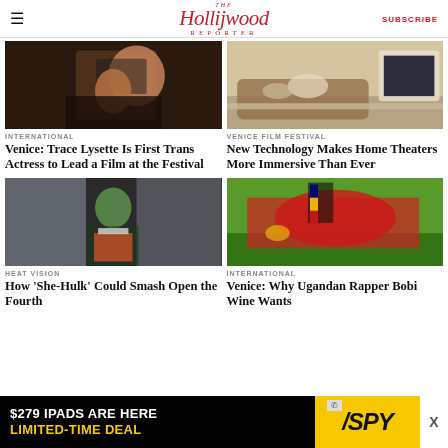The Hollywood Reporter | SUBSCRIBE
[Figure (photo): Close-up of a woman looking into a mirror, cinematic shot]
INTERNATIONAL
Venice: Trace Lysette Is First Trans Actress to Lead a Film at the Festival
[Figure (photo): Two people relaxing on a sofa in a modern home theater room]
VENICE FILM FESTIVAL
New Technology Makes Home Theaters More Immersive Than Ever
[Figure (photo): A green-skinned woman in a suit standing in a courtroom — She-Hulk]
HEAT VISION
How 'She-Hulk' Could Smash Open the Fourth
[Figure (photo): Crowd of people in red shirts waving Ugandan flag at a rally]
INTERNATIONAL
Venice: Why Ugandan Rapper Bobi Wine Wants
$279 IPADS ARE HERE LIMITED-TIME DEAL /SPY